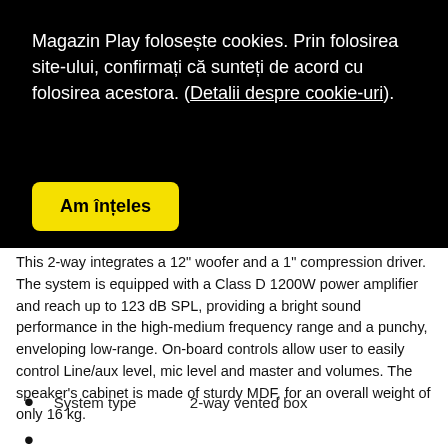Magazin Play folosește cookies. Prin folosirea site-ului, confirmați că sunteți de acord cu folosirea acestora. (Detalii despre cookie-uri).
Am înțeles
This 2-way integrates a 12" woofer and a 1" compression driver. The system is equipped with a Class D 1200W power amplifier and reach up to 123 dB SPL, providing a bright sound performance in the high-medium frequency range and a punchy, enveloping low-range. On-board controls allow user to easily control Line/aux level, mic level and master and volumes. The speaker's cabinet is made of sturdy MDF, for an overall weight of only 16 kg.
System type    2-way vented box